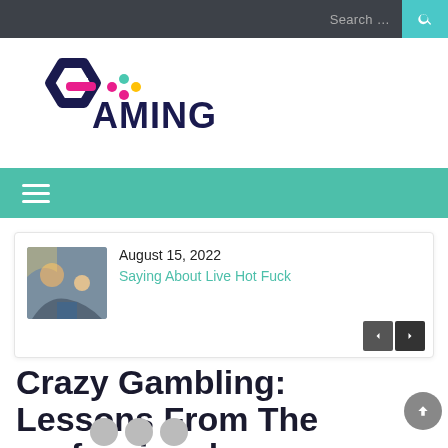Search …
[Figure (logo): Gaming website logo: dark navy hexagonal C-shape with pink horizontal bar and colorful dots, text 'aming' in dark navy bold sans-serif]
[Figure (other): Teal navigation bar with hamburger menu icon (three white horizontal lines)]
August 15, 2022
Saying About Live Hot Fuck
Crazy Gambling: Lessons From The professionals